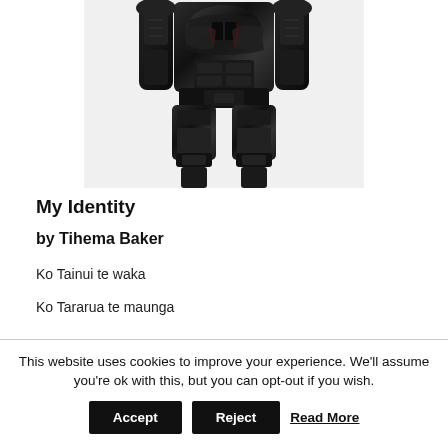[Figure (photo): A dark metallic robot/action figure torso and legs, shown from mid-torso down, with articulated armor plating in dark grey/black tones.]
My Identity
by Tihema Baker
Ko Tainui te waka
Ko Tararua te maunga
This website uses cookies to improve your experience. We'll assume you're ok with this, but you can opt-out if you wish.